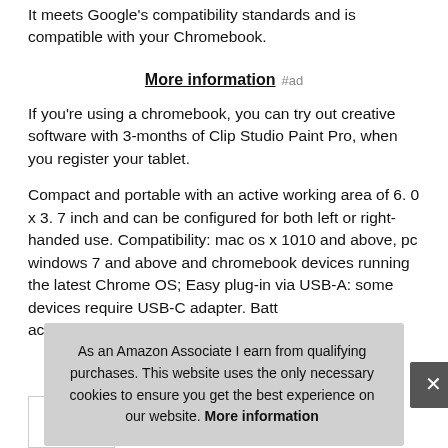It meets Google's compatibility standards and is compatible with your Chromebook.
More information #ad
If you're using a chromebook, you can try out creative software with 3-months of Clip Studio Paint Pro, when you register your tablet.
Compact and portable with an active working area of 6. 0 x 3. 7 inch and can be configured for both left or right-handed use. Compatibility: mac os x 1010 and above, pc windows 7 and above and chromebook devices running the latest Chrome OS; Easy plug-in via USB-A: some devices require USB-C adapter. Batt... acc...
As an Amazon Associate I earn from qualifying purchases. This website uses the only necessary cookies to ensure you get the best experience on our website. More information